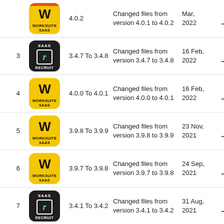| # | Icon | Version | Description | Date | Download |
| --- | --- | --- | --- | --- | --- |
|  | WORKSUITE SAAS | 4.0.2 | Changed files from version 4.0.1 to 4.0.2 | Mar, 2022 | ↓ |
| 3 | SAAS RECRUIT | 3.4.7 To 3.4.8 | Changed files from version 3.4.7 to 3.4.8 | 16 Feb, 2022 | ↓ |
| 4 | WORKSUITE SAAS | 4.0.0 To 4.0.1 | Changed files from version 4.0.0 to 4.0.1 | 16 Feb, 2022 | ↓ |
| 5 | WORKSUITE SAAS | 3.9.8 To 3.9.9 | Changed files from version 3.9.8 to 3.9.9 | 23 Nov, 2021 | ↓ |
| 6 | WORKSUITE SAAS | 3.9.7 To 3.9.8 | Changed files from version 3.9.7 to 3.9.8 | 24 Sep, 2021 | ↓ |
| 7 | SAAS RECRUIT | 3.4.1 To 3.4.2 | Changed files from version 3.4.1 to 3.4.2 | 31 Aug, 2021 | ↓ |